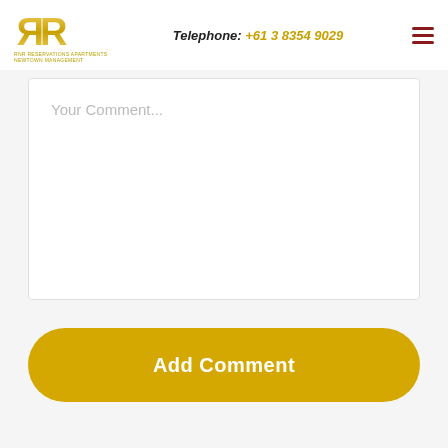RR Reservations Apartments | Newtown Management — Telephone: +61 3 8354 9029
Your Comment...
Add Comment